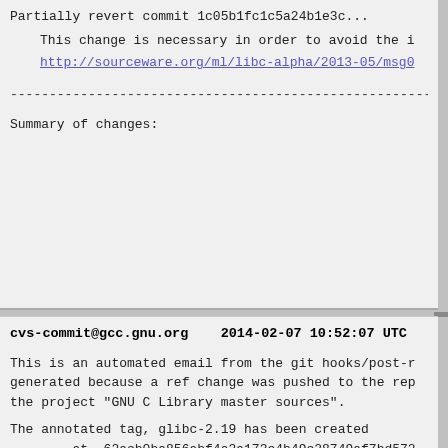Partially revert commit 1c05b1fc1c5a24b1e3c (truncated)
This change is necessary in order to avoid the i...
http://sourceware.org/ml/libc-alpha/2013-05/msg0...
------------------------------------------------------
Summary of changes:
cvs-commit@gcc.gnu.org    2014-02-07 10:52:07 UTC
This is an automated email from the git hooks/post-r generated because a ref change was pushed to the rep the project "GNU C Library master sources".
The annotated tag, glibc-2.19 has been created
        at  62acb0ba856abf4a2a173e4b49c28749af7bd572...
  tagging  9a869d822025be8e43b78234997b10bf0cf9d859...
  replaces  glibc-2.18
 tagged by  Allan McRae
        on  Fri Feb 7 19:12:54 2014 +1000
- Log -------------------------------------------------
The GNU C Library
==================
The GNU C Library version 2.19 is now available.
The GNU C Library is used as *the* C library in the and most systems with the Linux kernel.